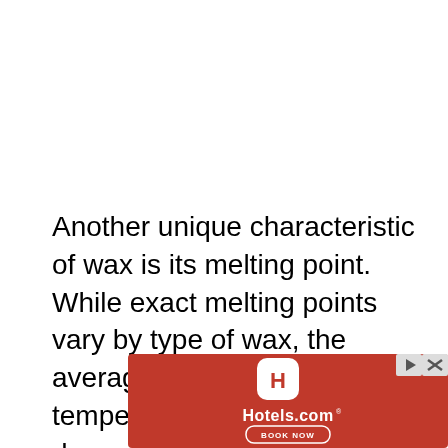Another unique characteristic of wax is its melting point. While exact melting points vary by type of wax, the average melting point temperature is about 70 degrees Celsius.
[Figure (other): Hotels.com advertisement banner with red background, Hotels.com logo icon, Hotels.com text, and BOOK NOW button]